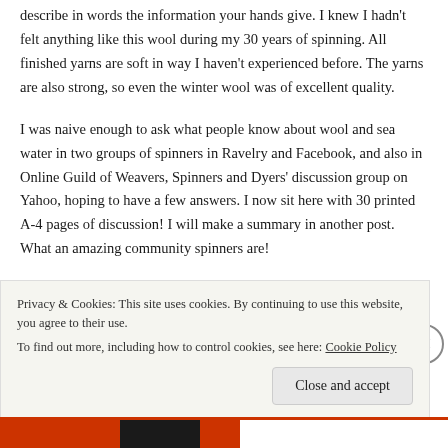describe in words the information your hands give. I knew I hadn't felt anything like this wool during my 30 years of spinning. All finished yarns are soft in way I haven't experienced before. The yarns are also strong, so even the winter wool was of excellent quality.
I was naive enough to ask what people know about wool and sea water in two groups of spinners in Ravelry and Facebook, and also in Online Guild of Weavers, Spinners and Dyers' discussion group on Yahoo, hoping to have a few answers. I now sit here with 30 printed A-4 pages of discussion! I will make a summary in another post. What an amazing community spinners are!
The textiles in Estonia are colorful and made with great skill. Muhu is known for it's rich tradition in knitting, embroidery, band weaving and braiding, and there's amazing crochet also. This photo shows a page
Privacy & Cookies: This site uses cookies. By continuing to use this website, you agree to their use.
To find out more, including how to control cookies, see here: Cookie Policy
Close and accept